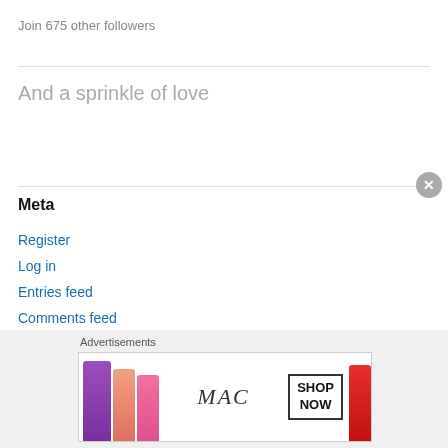Join 675 other followers
And a sprinkle of love
Meta
Register
Log in
Entries feed
Comments feed
WordPress.com
Advertisements
[Figure (illustration): MAC cosmetics advertisement banner showing colorful lipsticks (purple, peach, pink, red) with MAC logo and SHOP NOW button]